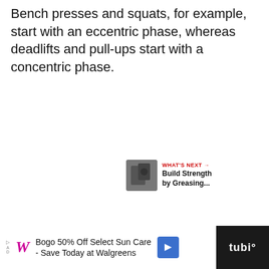Bench presses and squats, for example, start with an eccentric phase, whereas deadlifts and pull-ups start with a concentric phase.
[Figure (other): Advertisement placeholder box with 'ADVERTISEMENT' label, social media buttons (heart/favorite and share), and a 'What's Next' card showing 'Build Strength by Greasing...' with a thumbnail image]
[Figure (other): Bottom advertisement banner: Walgreens ad 'Bogo 50% Off Select Sun Care - Save Today at Walgreens' with Walgreens logo, navigation arrow icon, and Tubi logo on black background]